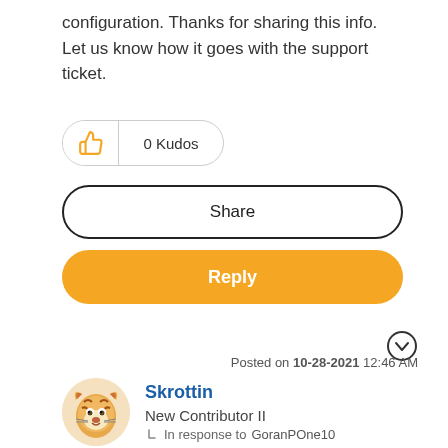configuration. Thanks for sharing this info. Let us know how it goes with the support ticket.
[Figure (other): Kudos button with thumbs up icon showing 0 Kudos]
Share
Reply
Posted on 10-28-2021 12:46 AM
[Figure (illustration): Tiger avatar icon for user Skrottin]
Skrottin
New Contributor II
In response to GoranPOne10
The script works on the VPN configuration pushed from